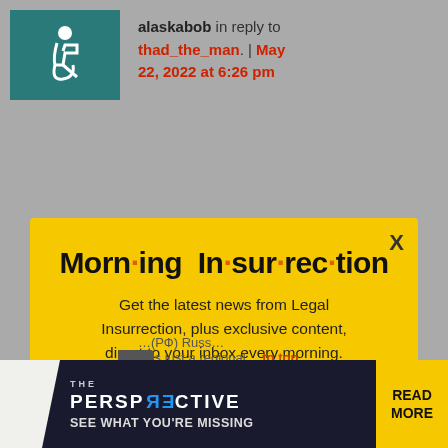[Figure (screenshot): Teal box with wheelchair accessibility icon in top-left corner of a web page comment section]
alaskabob in reply to thad_the_man. | May 22, 2022 at 6:26 pm
[Figure (infographic): Yellow popup modal for Morning Insurrection newsletter subscription with JOIN NOW button]
Morn·ing In·sur·rec·tion
Get the latest news from Legal Insurrection, plus exclusive content, direct to your inbox every morning. Subscribe today – it's free!
[Figure (infographic): Bottom advertisement banner: THE PERSPECTIVE - SEE WHAT YOU'RE MISSING - READ MORE]